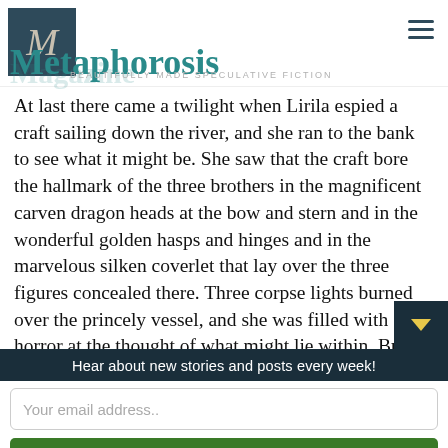Metaphorosis Magazine — BEAUTIFULLY MADE SPECULATIVE FICTION
At last there came a twilight when Lirila espied a craft sailing down the river, and she ran to the bank to see what it might be. She saw that the craft bore the hallmark of the three brothers in the magnificent carven dragon heads at the bow and stern and in the wonderful golden hasps and hinges and in the marvelous silken coverlet that lay over the three figures concealed there. Three corpse lights burned over the princely vessel, and she was filled with horror at the thought of what might lie within. But before she could arrive at the vessel's side, the priests of the lying god Yerolka, at their ri
Hear about new stories and posts every week!
Your email address..
Subscribe